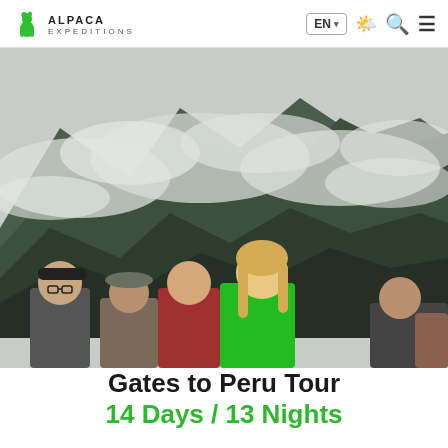alpaca EXPEDITIONS — EN — navigation icons
[Figure (photo): Group of tourists posing at Machu Picchu with dramatic misty mountain peaks in the background. Several people are visible including a man in a black cap and glasses, a man in a grey hat, a woman in a red flannel, a woman in a green t-shirt with long blonde hair, and partially visible others. Clouds hang over the steep green mountains.]
Gates to Peru Tour
14 Days / 13 Nights